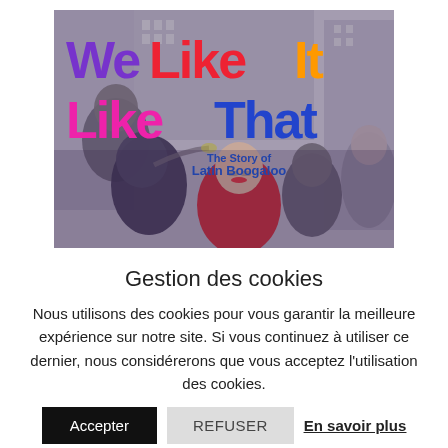[Figure (illustration): Movie poster for 'We Like It Like That - The Story of Latin Boogaloo'. Large colorful text on a black and white background showing musicians and a woman in red dress on a city street.]
Gestion des cookies
Nous utilisons des cookies pour vous garantir la meilleure expérience sur notre site. Si vous continuez à utiliser ce dernier, nous considérerons que vous acceptez l'utilisation des cookies.
Accepter
REFUSER
En savoir plus